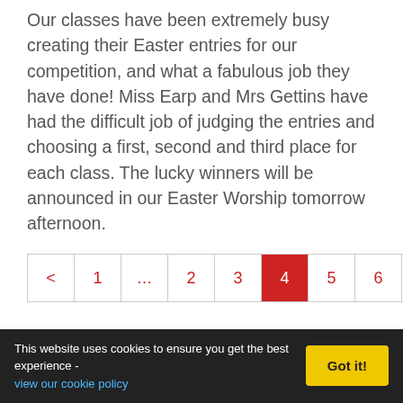Our classes have been extremely busy creating their Easter entries for our competition, and what a fabulous job they have done! Miss Earp and Mrs Gettins have had the difficult job of judging the entries and choosing a first, second and third place for each class. The lucky winners will be announced in our Easter Worship tomorrow afternoon.
Pagination: < 1 ... 2 3 4 (active) 5 6 ... 14 >
f share | tweet
This website uses cookies to ensure you get the best experience - view our cookie policy  Got it!